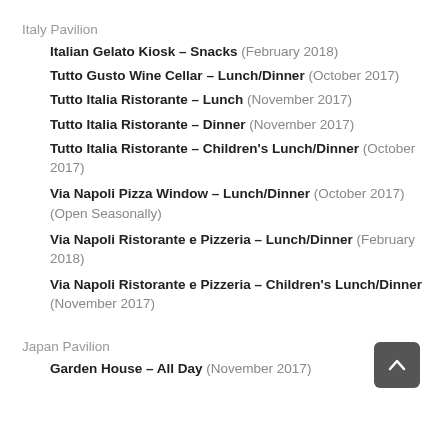Italy Pavilion
Italian Gelato Kiosk – Snacks (February 2018)
Tutto Gusto Wine Cellar – Lunch/Dinner (October 2017)
Tutto Italia Ristorante – Lunch (November 2017)
Tutto Italia Ristorante – Dinner (November 2017)
Tutto Italia Ristorante – Children's Lunch/Dinner (October 2017)
Via Napoli Pizza Window – Lunch/Dinner (October 2017) (Open Seasonally)
Via Napoli Ristorante e Pizzeria – Lunch/Dinner (February 2018)
Via Napoli Ristorante e Pizzeria – Children's Lunch/Dinner (November 2017)
Japan Pavilion
Garden House – All Day (November 2017)